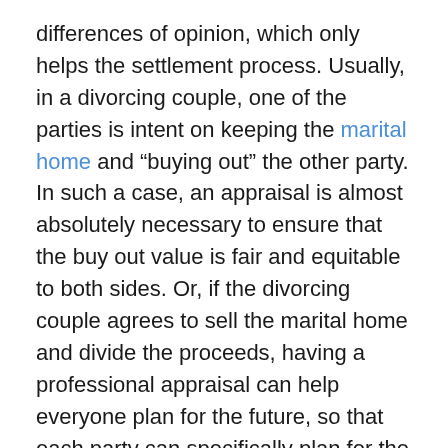differences of opinion, which only helps the settlement process.  Usually, in a divorcing couple, one of the parties is intent on keeping the marital home and "buying out" the other party.  In such a case, an appraisal is almost absolutely necessary to ensure that the buy out value is fair and equitable to both sides.  Or, if the divorcing couple agrees to sell the marital home and divide the proceeds, having a professional appraisal can help everyone plan for the future, so that each party can specifically plan for the amount of money they expect to receive out of the sale.
All throughout the southern part of the Denver metro area, including Highlands Ranch, the home prices have been gone up at an unprecedented rate, and this has affected the way that divorcing couples in Highlands Ranch have handled their divorce case.  Working with a professional real estate appraisal is yet another important tool for the